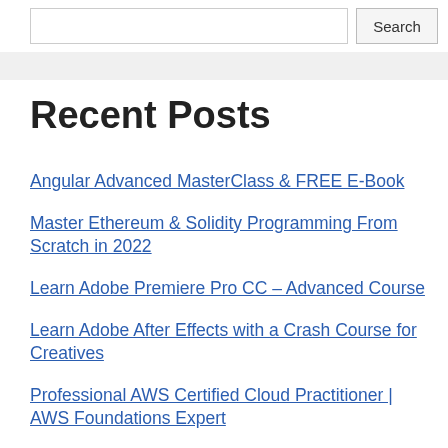Search
Recent Posts
Angular Advanced MasterClass & FREE E-Book
Master Ethereum & Solidity Programming From Scratch in 2022
Learn Adobe Premiere Pro CC – Advanced Course
Learn Adobe After Effects with a Crash Course for Creatives
Professional AWS Certified Cloud Practitioner | AWS Foundations Expert